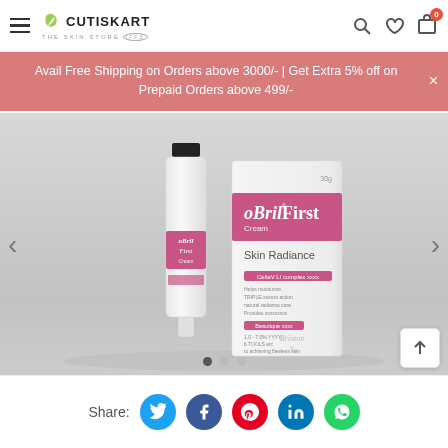[Figure (screenshot): Cutiskart website header with hamburger menu, logo, search, wishlist and cart icons]
Avail Free Shipping on Orders above 3000/- | Get Extra 5% off on Prepaid Orders above 499/-
[Figure (photo): oBril First Cream product photo showing tube and box on grey background with Skin Radiance text. Product by Brinton.]
Share: